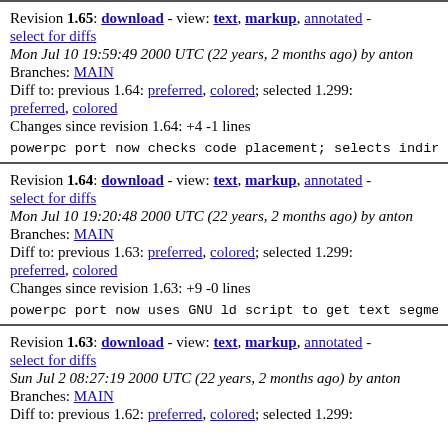Revision 1.65: download - view: text, markup, annotated - select for diffs
Mon Jul 10 19:59:49 2000 UTC (22 years, 2 months ago) by anton
Branches: MAIN
Diff to: previous 1.64: preferred, colored; selected 1.299: preferred, colored
Changes since revision 1.64: +4 -1 lines
powerpc port now checks code placement; selects indirect
Revision 1.64: download - view: text, markup, annotated - select for diffs
Mon Jul 10 19:20:48 2000 UTC (22 years, 2 months ago) by anton
Branches: MAIN
Diff to: previous 1.63: preferred, colored; selected 1.299: preferred, colored
Changes since revision 1.63: +9 -0 lines
powerpc port now uses GNU ld script to get text segment i
Revision 1.63: download - view: text, markup, annotated - select for diffs
Sun Jul 2 08:27:19 2000 UTC (22 years, 2 months ago) by anton
Branches: MAIN
Diff to: previous 1.62: preferred, colored; selected 1.299: